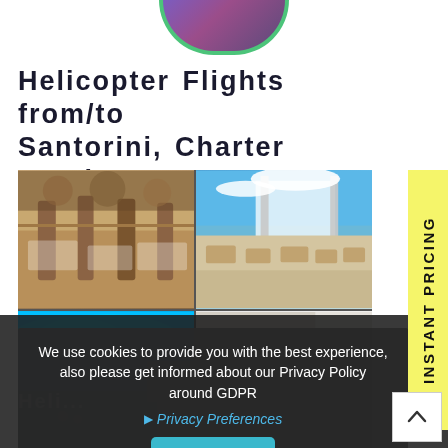[Figure (photo): Partial circular image at top, showing a purple/magenta aerial or landscape photo with green circular border, cropped at top of page]
Helicopter Flights from/to Santorini, Charter Services
[Figure (photo): 2x2 collage of four photos: top-left shows restaurant/outdoor dining area with wooden structure, top-right shows a terrace cafe with white umbrellas overlooking the Aegean sea, bottom-left shows a bright blue swimming pool, bottom-right shows a white-washed Greek building/street scene]
[Figure (other): Yellow vertical tab on right side with rotated text reading INSTANT PRICING]
We use cookies to provide you with the best experience, also please get informed about our Privacy Policy around GDPR
Privacy Preferences
I Agree